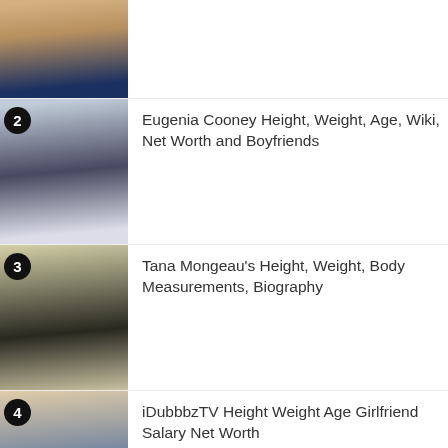[Item 1 - partial, top of page, title truncated]
2 Eugenia Cooney Height, Weight, Age, Wiki, Net Worth and Boyfriends
3 Tana Mongeau's Height, Weight, Body Measurements, Biography
4 iDubbbzTV Height Weight Age Girlfriend Salary Net Worth
5 Molly Parker's Height, Weight, Body Measurements, Biography